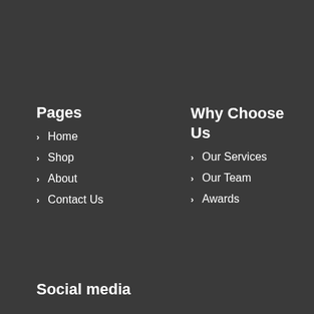Pages
Home
Shop
About
Contact Us
Why Choose Us
Our Services
Our Team
Awards
Social media